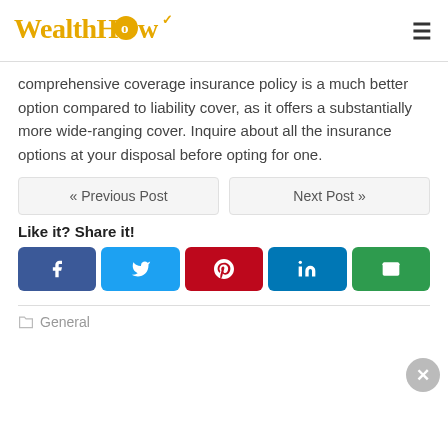WealthHow
comprehensive coverage insurance policy is a much better option compared to liability cover, as it offers a substantially more wide-ranging cover. Inquire about all the insurance options at your disposal before opting for one.
« Previous Post    Next Post »
Like it? Share it!
[Figure (infographic): Row of five social share buttons: Facebook (dark blue, f), Twitter (light blue, bird), Pinterest (red, p), LinkedIn (blue, in), Email (green, envelope)]
General